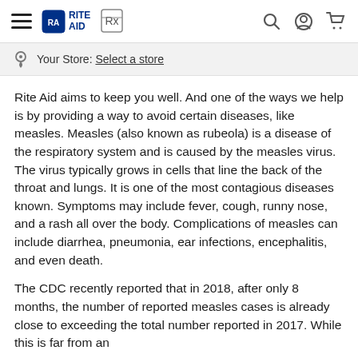Rite Aid — navigation bar with hamburger menu, Rite Aid logo, Rx icon, search, account, and cart icons
Your Store: Select a store
Rite Aid aims to keep you well. And one of the ways we help is by providing a way to avoid certain diseases, like measles. Measles (also known as rubeola) is a disease of the respiratory system and is caused by the measles virus. The virus typically grows in cells that line the back of the throat and lungs. It is one of the most contagious diseases known. Symptoms may include fever, cough, runny nose, and a rash all over the body. Complications of measles can include diarrhea, pneumonia, ear infections, encephalitis, and even death.
The CDC recently reported that in 2018, after only 8 months, the number of reported measles cases is already close to exceeding the total number reported in 2017. While this is far from an